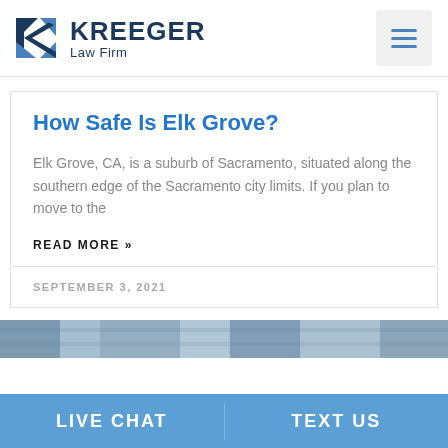KREEGER Law Firm
How Safe Is Elk Grove?
Elk Grove, CA, is a suburb of Sacramento, situated along the southern edge of the Sacramento city limits. If you plan to move to the
READ MORE »
SEPTEMBER 3, 2021
[Figure (photo): Partial view of a city aerial photo strip]
LIVE CHAT   TEXT US